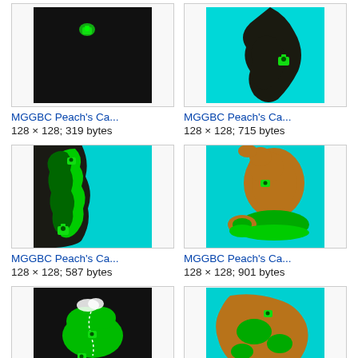[Figure (screenshot): Game map thumbnail - dark background with green dot, black image]
[Figure (screenshot): Game map thumbnail - cyan background with dark landmass and green icon]
MGGBC Peach's Ca...
128 × 128; 319 bytes
MGGBC Peach's Ca...
128 × 128; 715 bytes
[Figure (screenshot): Game map thumbnail - dark background with green winding landmass on left, cyan right]
[Figure (screenshot): Game map thumbnail - cyan background with brown and green landmasses/islands]
MGGBC Peach's Ca...
128 × 128; 587 bytes
MGGBC Peach's Ca...
128 × 128; 901 bytes
[Figure (screenshot): Game map thumbnail - dark background with green island shapes and white dotted path]
[Figure (screenshot): Game map thumbnail - cyan background with brown and green landmass]